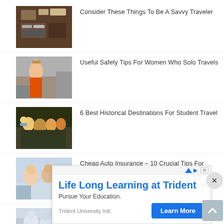[Figure (photo): Flat-lay of travel items on wooden surface]
Consider These Things To Be A Savvy Traveler
[Figure (photo): Woman in orange dress outdoors in rocky landscape]
Useful Safety Tips For Women Who Solo Travels
[Figure (photo): Group of young people taking a selfie outdoors]
6 Best Historical Destinations For Student Travel
[Figure (photo): Young people in a car taking selfie]
Cheap Auto Insurance – 10 Crucial Tips For Traveling Teens And Petrified Parents
[Figure (photo): Group of travelers on snowy or misty background]
[Figure (infographic): Advertisement banner: Life Long Learning at Trident - Pursue Your Education. Trident University Intl. Learn More button.]